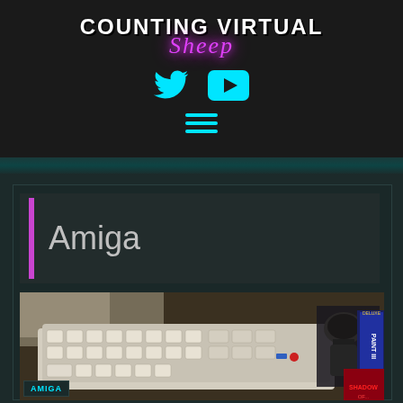COUNTING VIRTUAL Sheep
[Figure (illustration): Twitter bird icon in cyan]
[Figure (illustration): YouTube play button icon in cyan]
[Figure (illustration): Hamburger menu icon (three horizontal lines) in cyan]
Amiga
[Figure (photo): Photo of a vintage Amiga computer keyboard with joystick and Deluxe Paint III box and Shadow of the Beast game box on a wooden desk]
AMIGA